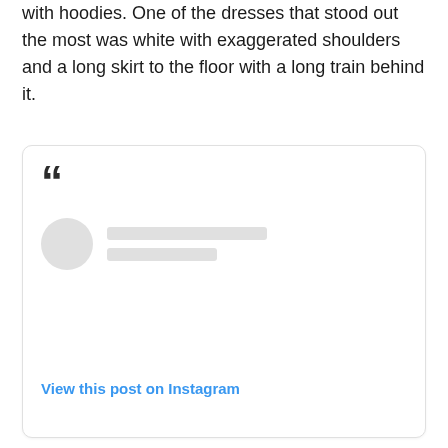with hoodies. One of the dresses that stood out the most was white with exaggerated shoulders and a long skirt to the floor with a long train behind it.
[Figure (screenshot): An embedded Instagram post card with a large opening quotation mark, a placeholder profile avatar circle and two gray placeholder lines for name/handle, and a 'View this post on Instagram' link at the bottom.]